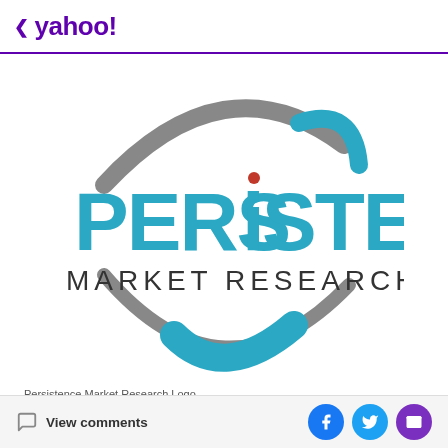< yahoo!
[Figure (logo): Persistence Market Research logo: large blue bold text 'PERSiSTENCE' with red dot on the letter i, below it 'MARKET RESEARCH' in dark gray spaced letters, surrounded by a gray and teal/blue elliptical arc design]
Persistence Market Research Logo
View comments